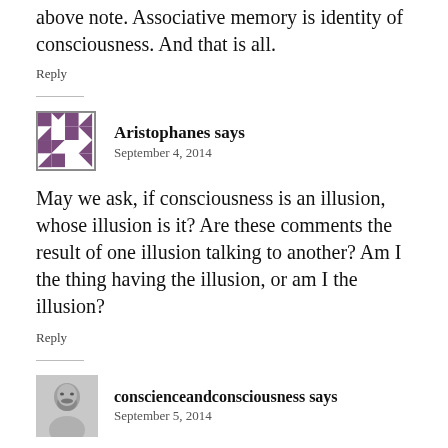above note. Associative memory is identity of consciousness. And that is all.
Reply
Aristophanes says
September 4, 2014
May we ask, if consciousness is an illusion, whose illusion is it? Are these comments the result of one illusion talking to another? Am I the thing having the illusion, or am I the illusion?
Reply
conscienceandconsciousness says
September 5, 2014
I think illusion is a and was as if the and it is...